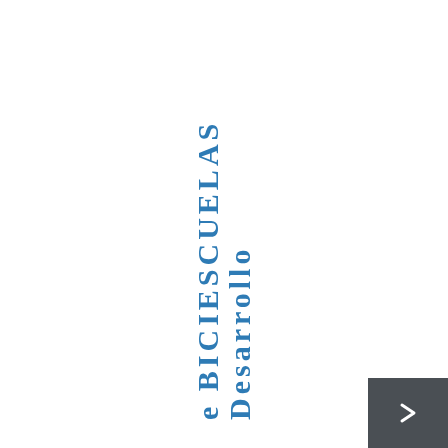e BICIESCUELAS Desarrollo
[Figure (other): Navigation button with right arrow icon in dark gray box at bottom right corner]